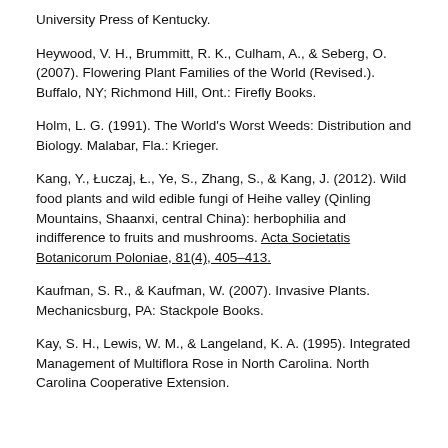University Press of Kentucky.
Heywood, V. H., Brummitt, R. K., Culham, A., & Seberg, O. (2007). Flowering Plant Families of the World (Revised.). Buffalo, NY; Richmond Hill, Ont.: Firefly Books.
Holm, L. G. (1991). The World's Worst Weeds: Distribution and Biology. Malabar, Fla.: Krieger.
Kang, Y., Łuczaj, Ł., Ye, S., Zhang, S., & Kang, J. (2012). Wild food plants and wild edible fungi of Heihe valley (Qinling Mountains, Shaanxi, central China): herbophilia and indifference to fruits and mushrooms. Acta Societatis Botanicorum Poloniae, 81(4), 405–413.
Kaufman, S. R., & Kaufman, W. (2007). Invasive Plants. Mechanicsburg, PA: Stackpole Books.
Kay, S. H., Lewis, W. M., & Langeland, K. A. (1995). Integrated Management of Multiflora Rose in North Carolina. North Carolina Cooperative Extension.